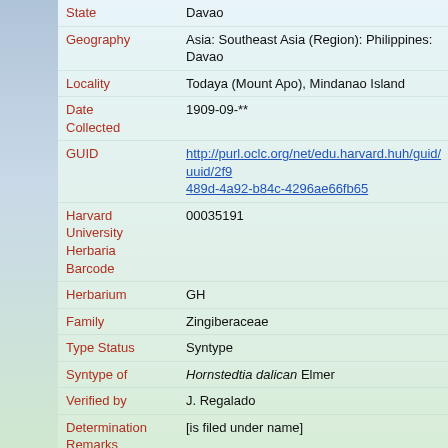| Field | Value |
| --- | --- |
| State | Davao |
| Geography | Asia: Southeast Asia (Region): Philippines: Davao |
| Locality | Todaya (Mount Apo), Mindanao Island |
| Date Collected | 1909-09-** |
| GUID | http://purl.oclc.org/net/edu.harvard.huh/guid/uuid/2f9489d-4a92-b84c-4296ae66fb65 |
| Harvard University Herbaria Barcode | 00035191 |
| Herbarium | GH |
| Family | Zingiberaceae |
| Type Status | Syntype |
| Syntype of | Hornstedtia dalican Elmer |
| Verified by | J. Regalado |
| Determination Remarks | [is filed under name] |
| Taxon Reference | (for Hornstedtia dalican Elmer) Leafl. Philipp. Bot. 19 2906. |
| Sex | not determined |
| Phenology | NotDetermined |